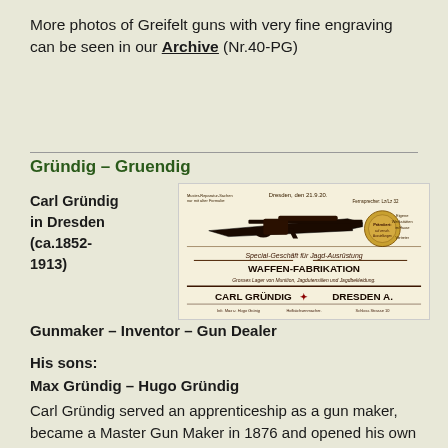More photos of Greifelt guns with very fine engraving can be seen in our Archive (Nr.40-PG)
Gründig – Gruendig
Carl Gründig in Dresden (ca.1852-1913)
[Figure (photo): Vintage advertisement for Carl Gründig in Dresden A. featuring an image of a rifle and text reading 'Special-Geschäft für Jagd-Ausrüstung WAFFEN-FABRIKATION CARL GRÜNDIG + DRESDEN A.' with various German text about hunting supplies and weapons fabrication.]
Gunmaker – Inventor – Gun Dealer
His sons:
Max Gründig – Hugo Gründig
Carl Gründig served an apprenticeship as a gun maker, became a Master Gun Maker in 1876 and opened his own shop shortly